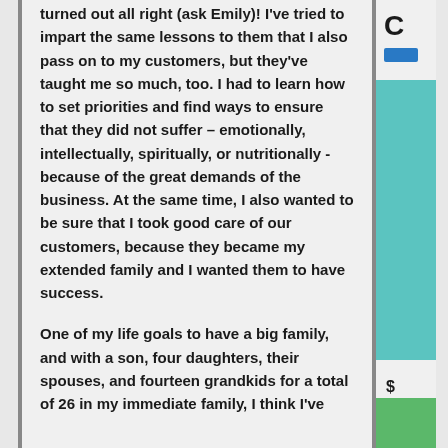turned out all right (ask Emily)! I've tried to impart the same lessons to them that I also pass on to my customers, but they've taught me so much, too. I had to learn how to set priorities and find ways to ensure that they did not suffer – emotionally, intellectually, spiritually, or nutritionally - because of the great demands of the business. At the same time, I also wanted to be sure that I took good care of our customers, because they became my extended family and I wanted them to have success.

One of my life goals to have a big family, and with a son, four daughters, their spouses, and fourteen grandkids for a total of 26 in my immediate family, I think I've